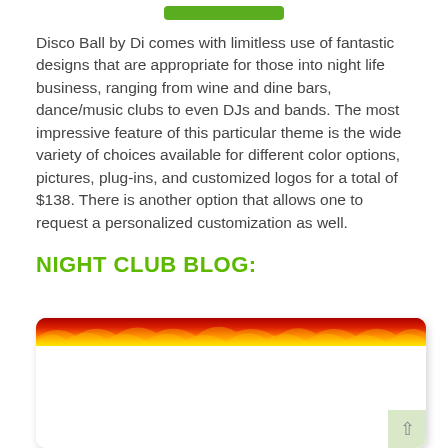[Figure (other): Green button at top of page (partially visible)]
Disco Ball by Di comes with limitless use of fantastic designs that are appropriate for those into night life business, ranging from wine and dine bars, dance/music clubs to even DJs and bands. The most impressive feature of this particular theme is the wide variety of choices available for different color options, pictures, plug-ins, and customized logos for a total of $138. There is another option that allows one to request a personalized customization as well.
NIGHT CLUB BLOG:
[Figure (screenshot): Night club blog screenshot showing a website with a fire/flames header banner in red, orange and yellow, and a white content area below with a light green scroll-to-top button in the bottom right corner.]